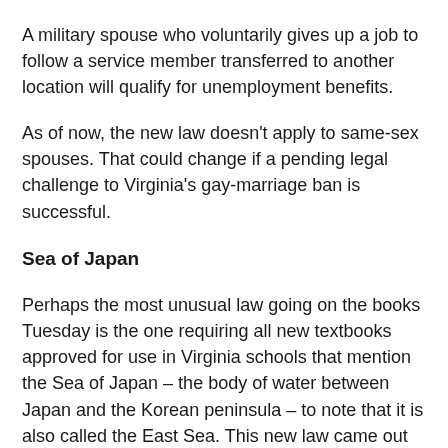A military spouse who voluntarily gives up a job to follow a service member transferred to another location will qualify for unemployment benefits.
As of now, the new law doesn't apply to same-sex spouses. That could change if a pending legal challenge to Virginia's gay-marriage ban is successful.
Sea of Japan
Perhaps the most unusual law going on the books Tuesday is the one requiring all new textbooks approved for use in Virginia schools that mention the Sea of Japan – the body of water between Japan and the Korean peninsula – to note that it is also called the East Sea. This new law came out of a grassroots lobbying effort by a group of Korean-Americans for whom the